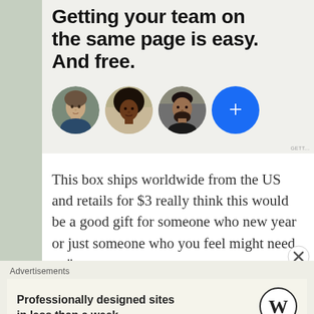Getting your team on the same page is easy. And free.
[Figure (illustration): Three circular avatar photos of people and a blue circle with a plus sign, representing team member avatars]
This box ships worldwide from the US and retails for $3 really think this would be a good gift for someone who new year or just someone who you feel might need to "
[Figure (logo): WordPress W logo in black circle]
Advertisements
Professionally designed sites in less than a week